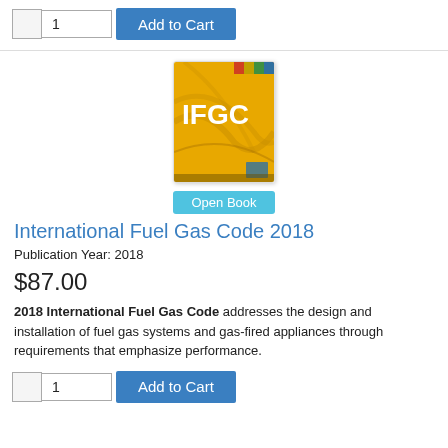[Figure (screenshot): Add to Cart widget with checkbox, quantity field showing '1', and blue 'Add to Cart' button]
[Figure (illustration): Book cover for IFGC (International Fuel Gas Code) with yellow/gold background and IFGC text in white]
Open Book
International Fuel Gas Code 2018
Publication Year: 2018
$87.00
2018 International Fuel Gas Code addresses the design and installation of fuel gas systems and gas-fired appliances through requirements that emphasize performance.
[Figure (screenshot): Add to Cart widget with checkbox, quantity field showing '1', and blue 'Add to Cart' button]